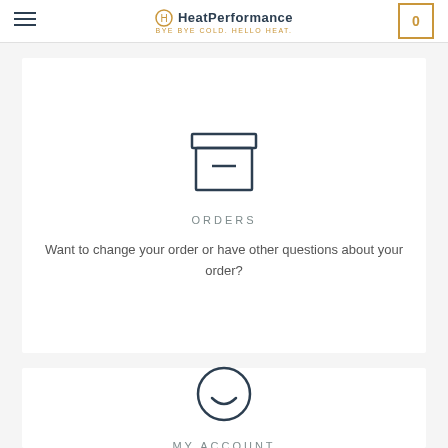HeatPerformance — BYE BYE COLD. HELLO HEAT.
[Figure (illustration): Archive box icon with a horizontal line in the middle]
ORDERS
Want to change your order or have other questions about your order?
[Figure (illustration): Smiley face circle icon]
MY ACCOUNT